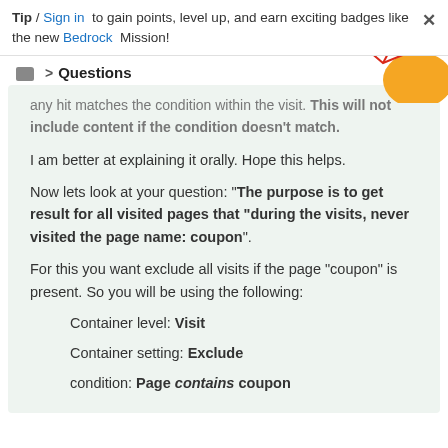Tip / Sign in to gain points, level up, and earn exciting badges like the new Bedrock Mission! ×
📁 > Questions
any hit matches the condition within the visit. This will not include content if the condition doesn't match.
I am better at explaining it orally. Hope this helps.
Now lets look at your question: "The purpose is to get result for all visited pages that "during the visits, never visited the page name: coupon".
For this you want exclude all visits if the page "coupon" is present. So you will be using the following:
Container level: Visit
Container setting: Exclude
condition: Page contains coupon